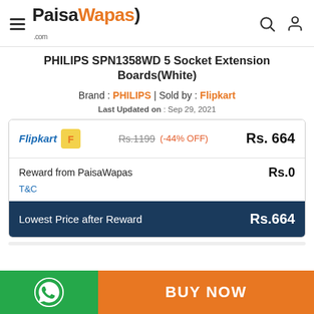PaisaWapas.com
PHILIPS SPN1358WD 5 Socket Extension Boards(White)
Brand : PHILIPS | Sold by : Flipkart
Last Updated on : Sep 29, 2021
| Store | Original Price | Discount | Final Price |
| --- | --- | --- | --- |
| Flipkart | Rs.1199 | -44% OFF | Rs.664 |
| Reward from PaisaWapas |  |  | Rs.0 |
| Lowest Price after Reward |  |  | Rs.664 |
T&C
BUY NOW